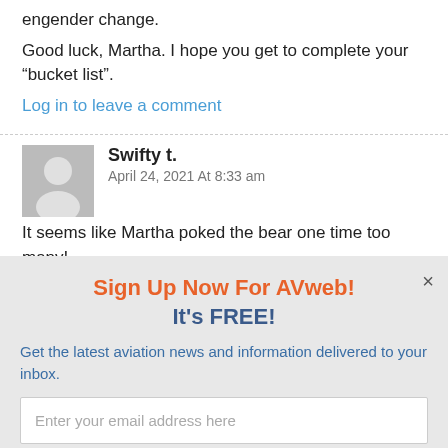engender change.
Good luck, Martha. I hope you get to complete your “bucket list”.
Log in to leave a comment
Swifty t.
April 24, 2021 At 8:33 am
It seems like Martha poked the bear one time too many!
Sign Up Now For AVweb!
It’s FREE!
Get the latest aviation news and information delivered to your inbox.
Enter your email address here
Sign Me Up!